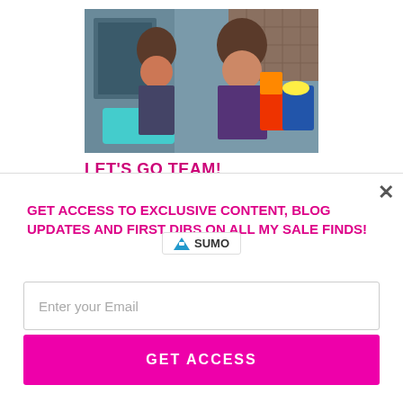[Figure (photo): Two women smiling, one young girl wearing a Chicago Bears shirt and an adult woman in a purple dress holding snacks, in a kitchen-like setting]
LET'S GO TEAM! TAILGATING TIPS: PRE-GAME PREP AND PARTY
[Figure (logo): Sumo logo with crown icon and text 'SUMO']
GET ACCESS TO EXCLUSIVE CONTENT, BLOG UPDATES AND FIRST DIBS ON ALL MY SALE FINDS!
Enter your Email
GET ACCESS